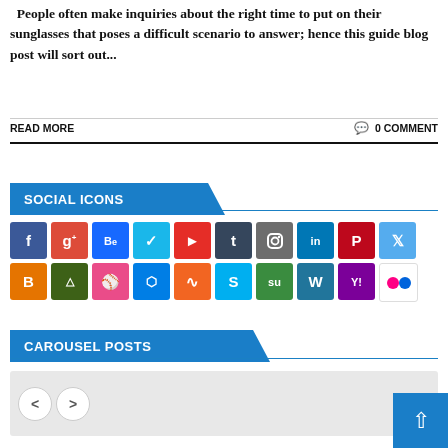People often make inquiries about the right time to put on their sunglasses that poses a difficult scenario to answer; hence this guide blog post will sort out...
READ MORE   0 COMMENT
SOCIAL ICONS
[Figure (infographic): Two rows of social media icon squares: Facebook (blue), Google+ (red), Behance (blue), Vimeo (teal), YouTube (red), Tumblr (dark blue), Instagram (gray), LinkedIn (blue), Pinterest (red), Twitter (light blue); second row: Blogger (orange), Delicious (dark green), Dribbble (pink), Dropbox (blue), RSS (orange), Skype (teal), StumbleUpon (green), WordPress (dark blue), Yahoo (purple), Flickr (white/dots)]
CAROUSEL POSTS
[Figure (other): Carousel navigation with back and forward arrow buttons on a gray background, and a blue back-to-top arrow button on the right]